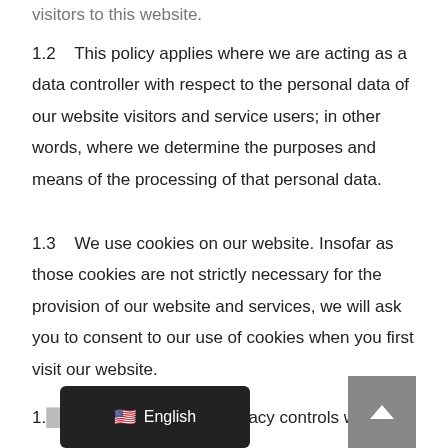visitors to this website.
1.2    This policy applies where we are acting as a data controller with respect to the personal data of our website visitors and service users; in other words, where we determine the purposes and means of the processing of that personal data.
1.3    We use cookies on our website. Insofar as those cookies are not strictly necessary for the provision of our website and services, we will ask you to consent to our use of cookies when you first visit our website.
1.4    [text incorporates privacy controls which